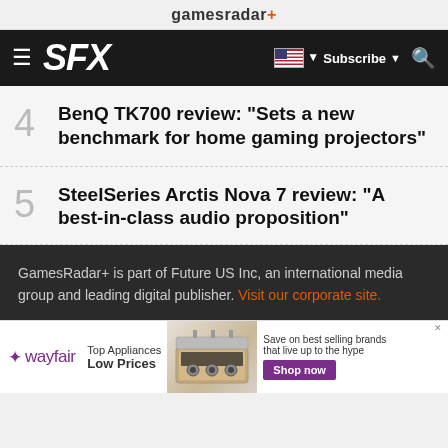gamesradar+
[Figure (screenshot): SFX navigation bar with hamburger menu, SFX logo, US flag, Subscribe button, and search icon on dark background]
4 BenQ TK700 review: "Sets a new benchmark for home gaming projectors"
5 SteelSeries Arctis Nova 7 review: "A best-in-class audio proposition"
GamesRadar+ is part of Future US Inc, an international media group and leading digital publisher. Visit our corporate site.
[Figure (screenshot): Wayfair advertisement banner: Top Appliances Low Prices, image of stove, Save on best selling brands that live up to the hype, Shop now button]